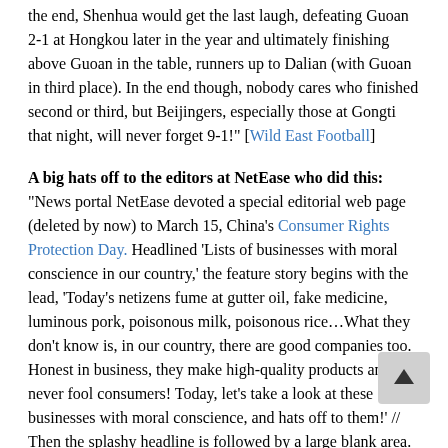the end, Shenhua would get the last laugh, defeating Guoan 2-1 at Hongkou later in the year and ultimately finishing above Guoan in the table, runners up to Dalian (with Guoan in third place). In the end though, nobody cares who finished second or third, but Beijingers, especially those at Gongti that night, will never forget 9-1!" [Wild East Football]
A big hats off to the editors at NetEase who did this: “News portal NetEase devoted a special editorial web page (deleted by now) to March 15, China’s Consumer Rights Protection Day. Headlined ‘Lists of businesses with moral conscience in our country,’ the feature story begins with the lead, ‘Today’s netizens fume at gutter oil, fake medicine, luminous pork, poisonous milk, poisonous rice…What they don’t know is, in our country, there are good companies too. Honest in business, they make high-quality products and never fool consumers! Today, let’s take a look at these businesses with moral conscience, and hats off to them!’ // Then the splashy headline is followed by a large blank area. // …Netizens immediately cracked the code – by holding down ‘Ctrl’ and ‘A’ at the same time. A previously invisible line will have been selected, which reads, ‘F**k! Sti find any business with moral conscience after so much lookin around, and here comes the damn 3/15…Was forced to put this feature on media ___’ [Ministry of Tofu]